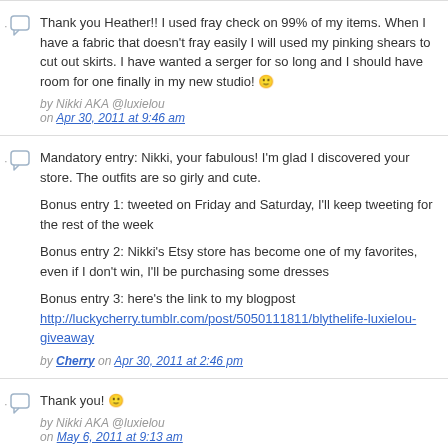Thank you Heather!! I used fray check on 99% of my items. When I have a fabric that doesn't fray easily I will used my pinking shears to cut out skirts. I have wanted a serger for so long and I should have room for one finally in my new studio! 🙂
by Nikki AKA @luxielou on Apr 30, 2011 at 9:46 am
Mandatory entry: Nikki, your fabulous! I'm glad I discovered your store. The outfits are so girly and cute.

Bonus entry 1: tweeted on Friday and Saturday, I'll keep tweeting for the rest of the week

Bonus entry 2: Nikki's Etsy store has become one of my favorites, even if I don't win, I'll be purchasing some dresses

Bonus entry 3: here's the link to my blogpost http://luckycherry.tumblr.com/post/5050111811/blythelife-luxielou-giveaway
by Cherry on Apr 30, 2011 at 2:46 pm
Thank you! 🙂
by Nikki AKA @luxielou on May 6, 2011 at 9:13 am
I blogged! http://www.weplaywithdolls.net/blogs/2011/05/01/i-win-more-